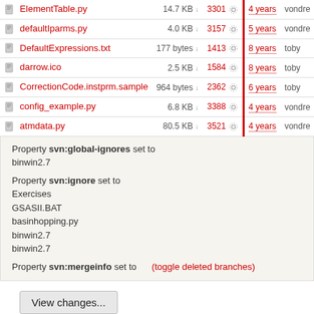| Name | Size | Rev | Age | Author |
| --- | --- | --- | --- | --- |
| ElementTable.py | 14.7 KB | 3301 | 4 years | vondre |
| defaultIparms.py | 4.0 KB | 3157 | 5 years | vondre |
| DefaultExpressions.txt | 177 bytes | 1413 | 8 years | toby |
| darrow.ico | 2.5 KB | 1584 | 8 years | toby |
| CorrectionCode.instprm.sample | 964 bytes | 2362 | 6 years | toby |
| config_example.py | 6.8 KB | 3388 | 4 years | vondre |
| atmdata.py | 80.5 KB | 3521 | 4 years | vondre |
Property svn:global-ignores set to binwin2.7
Property svn:ignore set to Exercises GSASII.BAT basinhopping.py binwin2.7 binwin2.7
Property svn:mergeinfo set to (toggle deleted branches)
View changes...
Note: See TracBrowser for help on using the repository browser.
Download in other formats:
Zip Archive
Powered by Trac 1.0.13 By Edgewall Software. Visit the Trac open source project at http://trac.edgewall.org/